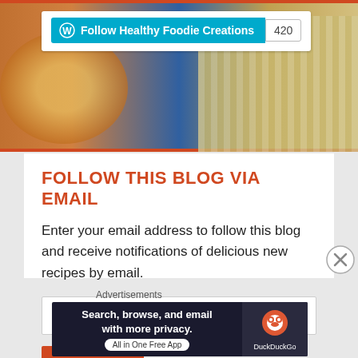[Figure (screenshot): Top banner with food photograph background showing colorful food items]
Follow Healthy Foodie Creations  420
FOLLOW THIS BLOG VIA EMAIL
Enter your email address to follow this blog and receive notifications of delicious new recipes by email.
Enter your email address
Follow
Advertisements
[Figure (screenshot): DuckDuckGo advertisement banner: Search, browse, and email with more privacy. All in One Free App]